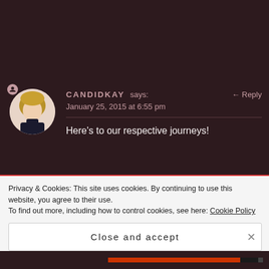[Figure (photo): Circular avatar photo of CANDIDKAY, a woman with short blonde hair wearing a black turtleneck]
CANDIDKAY says:
January 25, 2015 at 6:55 pm
Here's to our respective journeys!
[Figure (illustration): Circular avatar with red and white checkerboard pattern for CHRISTANIS2014]
CHRISTANIS2014 says:
January 25, 2015 at 4:30 pm
Privacy & Cookies: This site uses cookies. By continuing to use this website, you agree to their use.
To find out more, including how to control cookies, see here: Cookie Policy
Close and accept